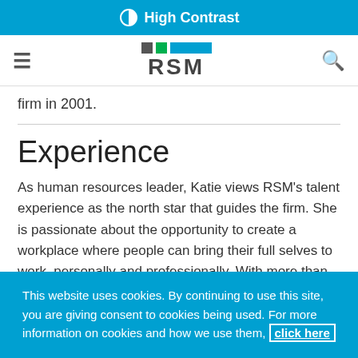⊙ High Contrast
[Figure (logo): RSM logo with colored squares and rectangles above the RSM wordmark, with hamburger menu icon on left and search icon on right]
firm in 2001.
Experience
As human resources leader, Katie views RSM's talent experience as the north star that guides the firm. She is passionate about the opportunity to create a workplace where people can bring their full selves to work, personally and professionally. With more than 30 years
This website uses cookies. By continuing to use this site, you are giving consent to cookies being used. For more information on cookies and how we use them, click here